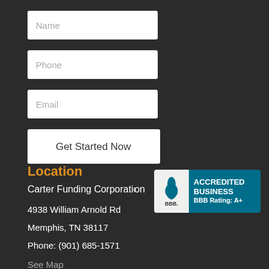[Figure (other): Contact form with Name, Phone, Email input fields and Get Started Now button]
Location
[Figure (logo): BBB Accredited Business logo with BBB Rating: A+]
Carter Funding Corporation
4938 William Arnold Rd
Memphis, TN 38117
Phone: (901) 685-1571
See Map